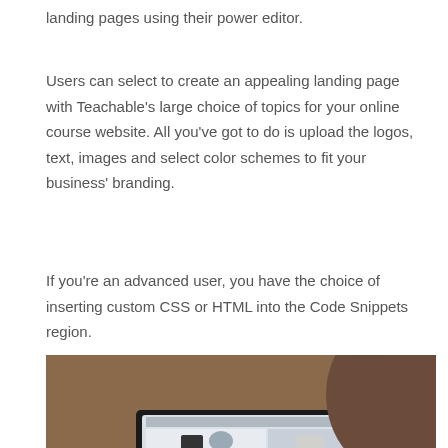landing pages using their power editor.
Users can select to create an appealing landing page with Teachable’s large choice of topics for your online course website. All you’ve got to do is upload the logos, text, images and select color schemes to fit your business’ branding.
If you’re an advanced user, you have the choice of inserting custom CSS or HTML into the Code Snippets region.
[Figure (photo): A person sitting at a desk typing on a laptop computer, with a dark mug on the left side and a phone visible in the background. The person is wearing a light sweater and a teal bracelet.]